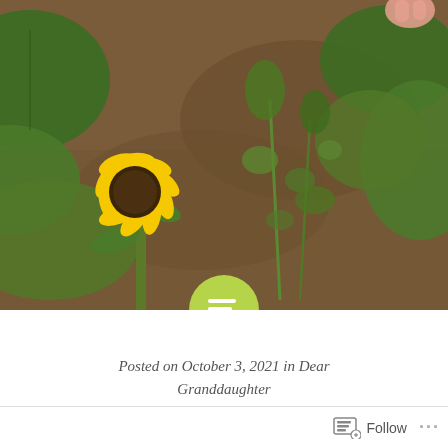[Figure (photo): Garden photograph showing soil with green plants, leaves, weeds, and a yellow sunflower in the lower left. A small hand/fingers visible in upper right corner.]
Posted on October 3, 2021 in Dear Granddaughter
You're My Best